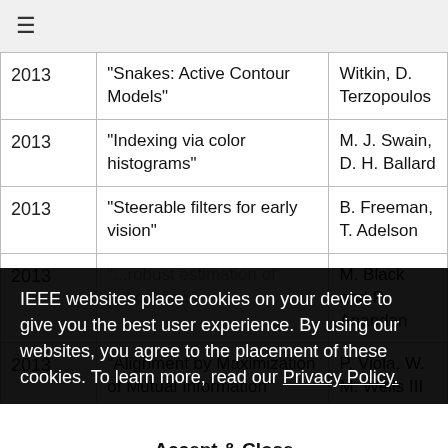≡
| Year | Title | Authors |
| --- | --- | --- |
| 2013 | "Snakes: Active Contour Models" | Witkin, D. Terzopoulos |
| 2013 | "Indexing via color histograms" | M. J. Swain, D. H. Ballard |
| 2013 | "Steerable filters for early vision" | B. Freeman, T. Adelson |
| 2013 | "...robust estimation of optical flow" | M. Black and P. Anandan |
| 2013 | "Alignment by Maximization of Mutual Information" | P. Viola, W. M. Wells III |
IEEE websites place cookies on your device to give you the best user experience. By using our websites, you agree to the placement of these cookies. To learn more, read our Privacy Policy.
Accept & Close